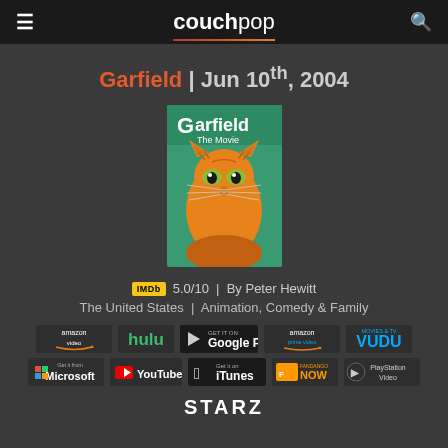couchpop
Garfield | Jun 10th, 2004
[Figure (photo): Garfield The Movie poster showing animated cat on green background]
IMDb 5.0/10 | By Peter Hewitt
The United States | Animation, Comedy & Family
[Figure (logo): Streaming service logos: Amazon Video, Hulu, Google Play, Amazon Prime Video, VUDU, Microsoft, YouTube, iTunes, Fandango NOW, PlayStation Video, STARZ]